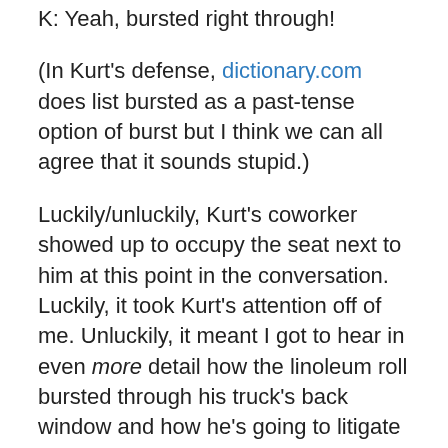K: Yeah, bursted right through!
(In Kurt's defense, dictionary.com does list bursted as a past-tense option of burst but I think we can all agree that it sounds stupid.)
Luckily/unluckily, Kurt's coworker showed up to occupy the seat next to him at this point in the conversation. Luckily, it took Kurt's attention off of me. Unluckily, it meant I got to hear in even more detail how the linoleum roll bursted through his truck's back window and how he's going to litigate Menard's if he has to.
Needless to say, I was more than a little stabby by the time we hit 10,000 feet and I could finally plug in some music.
[On an unrelated note, there were two amazing mullets on my flight as well. One was a kid which I guess I should